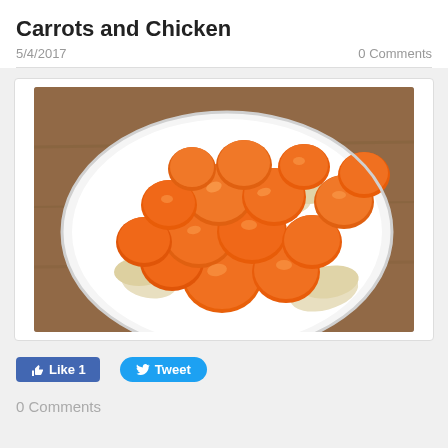Carrots and Chicken
5/4/2017
0 Comments
[Figure (photo): A white bowl filled with sliced carrots and pieces of chicken, photographed from above on a wooden table surface.]
Like 1
Tweet
0 Comments